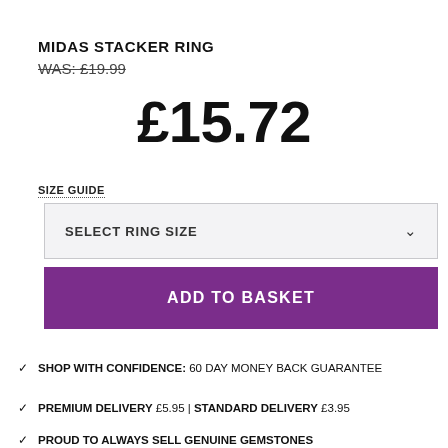MIDAS STACKER RING
WAS: £19.99
£15.72
SIZE GUIDE
SELECT RING SIZE
ADD TO BASKET
SHOP WITH CONFIDENCE: 60 DAY MONEY BACK GUARANTEE
PREMIUM DELIVERY £5.95 | STANDARD DELIVERY £3.95
PROUD TO ALWAYS SELL GENUINE GEMSTONES